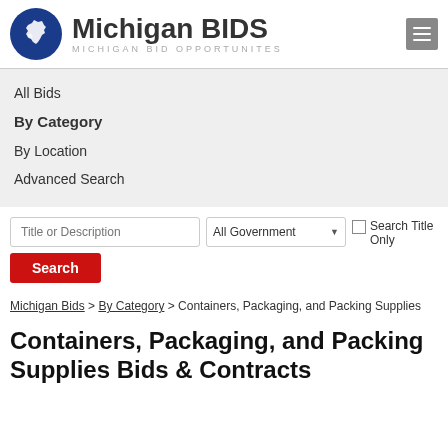[Figure (logo): Michigan BIDS logo with blue circle containing Michigan state outline silhouette, text 'Michigan BIDS' and subtitle 'MICHIGAN BID OPPORTUNITES']
All Bids
By Category
By Location
Advanced Search
Title or Description | All Government ▼ | ☐ Search Title Only
Search
Michigan Bids > By Category > Containers, Packaging, and Packing Supplies
Containers, Packaging, and Packing Supplies Bids & Contracts